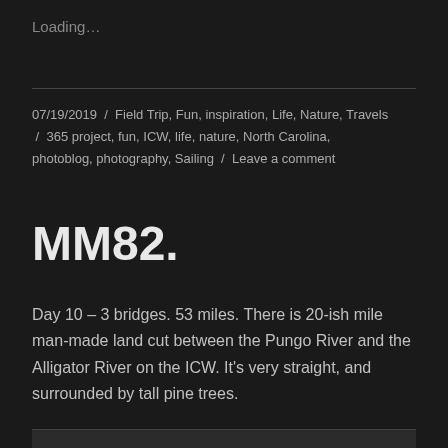Loading…
07/19/2019 / Field Trip, Fun, inspiration, Life, Nature, Travels / 365 project, fun, ICW, life, nature, North Carolina, photoblog, photography, Sailing / Leave a comment
MM82.
Day 10 – 3 bridges. 53 miles. There is 20-ish mile man-made land cut between the Pungo River and the Alligator River on the ICW. It's very straight, and surrounded by tall pine trees.